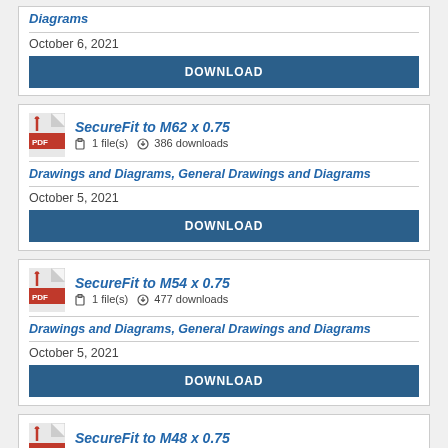Drawings and Diagrams
October 6, 2021
DOWNLOAD
SecureFit to M62 x 0.75
1 file(s)  386 downloads
Drawings and Diagrams, General Drawings and Diagrams
October 5, 2021
DOWNLOAD
SecureFit to M54 x 0.75
1 file(s)  477 downloads
Drawings and Diagrams, General Drawings and Diagrams
October 5, 2021
DOWNLOAD
SecureFit to M48 x 0.75
1 file(s)  428 downloads